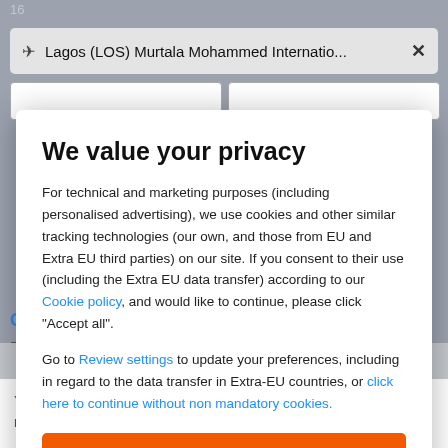[Figure (screenshot): Background of a travel booking website showing an airport search bar with 'Lagos (LOS) Murtala Mohammed Internatio...' and a close button, two date input boxes, a blue 'CH' label, 'Bo' text, and a tooltip at the bottom saying 'You can see the prices by selecting one month. Then continue moving the bar and choose your preferred day.']
We value your privacy
For technical and marketing purposes (including personalised advertising), we use cookies and other similar tracking technologies (our own, and those from EU and Extra EU third parties) on our site. If you consent to their use (including the Extra EU data transfer) according to our Cookie policy, and would like to continue, please click "Accept all".
Go to Review settings to update your preferences, including in regard to the data transfer in Extra-EU countries, or click here to continue without non mandatory cookies.
ACCEPT ALL